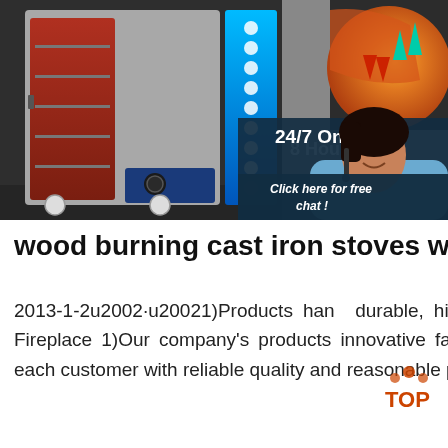[Figure (photo): Composite image showing an industrial oven/stove on a dark background on the left, a shoe sole cross-section diagram in the top right, a customer service agent with headset on the right, with overlaid text '24/7 Online', '8 Hours W...', and UI elements for chat and quotation.]
wood burning cast iron stoves wood burning cast ...
2013-1-2u2002·u20021)Products hand... durable, high quality. 2)OEM is allowed. Cast Iron Fireplace 1)Our company's products innovative fashion, beauty practical.Efforts to provide each customer with reliable quality and reasonable price products. 2)Can be requested